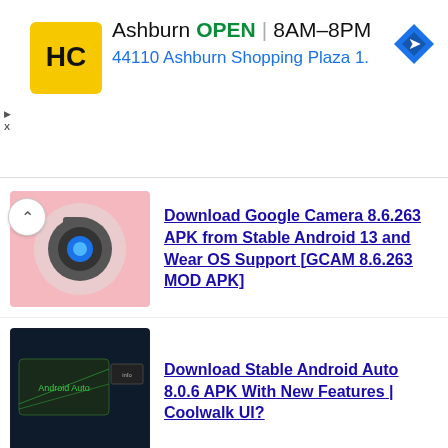[Figure (screenshot): Advertisement banner for a business in Ashburn showing logo, OPEN status, hours 8AM-8PM, address 44110 Ashburn Shopping Plaza 1., and navigation icon]
Download Google Camera 8.6.263 APK from Stable Android 13 and Wear OS Support [GCAM 8.6.263 MOD APK]
Download Stable Android Auto 8.0.6 APK With New Features | Coolwalk UI?
Download GCAM 8.4 APK MOD for all Android devices | Google Camera 8.4 MOD APK Port
Download Latest Google Play Store v31.9.20-21+ APK To Fix Broken Google